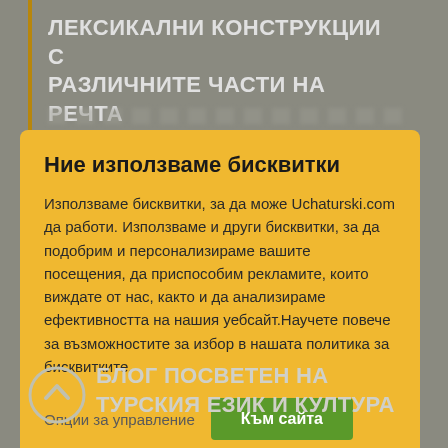ЛЕКСИКАЛНИ КОНСТРУКЦИИ С РАЗЛИЧНИТЕ ЧАСТИ НА РЕЧТА
Ние използваме бисквитки

Използваме бисквитки, за да може Uchaturski.com да работи. Използваме и други бисквитки, за да подобрим и персонализираме вашите посещения, да приспособим рекламите, които виждате от нас, както и да анализираме ефективността на нашия уебсайт.Научете повече за възможностите за избор в нашата политика за бисквитките.
Опции за управление
Към сайта
БЛОГ ПОСВЕТЕН НА ТУРСКИЯ ЕЗИК И КУЛТУРА